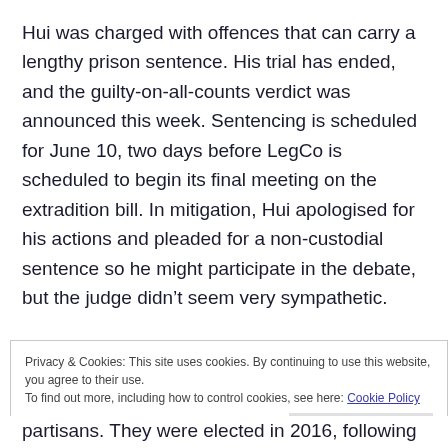Hui was charged with offences that can carry a lengthy prison sentence. His trial has ended, and the guilty-on-all-counts verdict was announced this week. Sentencing is scheduled for June 10, two days before LegCo is scheduled to begin its final meeting on the extradition bill. In mitigation, Hui apologised for his actions and pleaded for a non-custodial sentence so he might participate in the debate, but the judge didn't seem very sympathetic.
Privacy & Cookies: This site uses cookies. By continuing to use this website, you agree to their use.
To find out more, including how to control cookies, see here: Cookie Policy
partisans. They were elected in 2016, following the